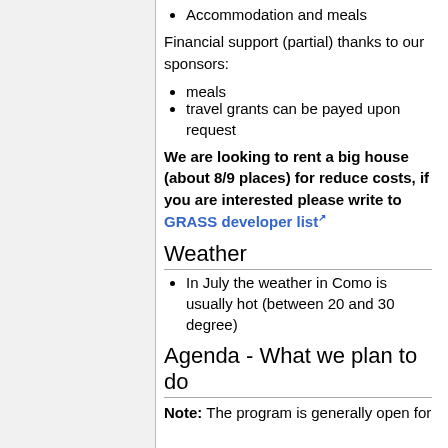Accommodation and meals
Financial support (partial) thanks to our sponsors:
meals
travel grants can be payed upon request
We are looking to rent a big house (about 8/9 places) for reduce costs, if you are interested please write to GRASS developer list
Weather
In July the weather in Como is usually hot (between 20 and 30 degree)
Agenda - What we plan to do
Note: The program is generally open for